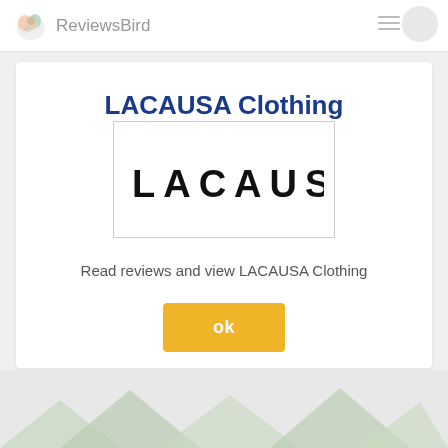ReviewsBird
LACAUSA Clothing
[Figure (logo): LACAUSA brand wordmark logo in black uppercase letters on white background with border]
Read reviews and view LACAUSA Clothing
ok